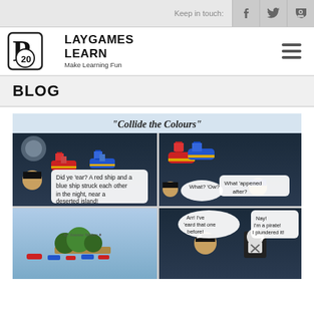Keep in touch: [Facebook] [Twitter] [RSS]
[Figure (logo): PlayGames2Learn logo with dice icon and tagline 'Make Learning Fun']
BLOG
[Figure (illustration): Comic strip titled 'Collide the Colours' showing cartoon pirate and ship characters. First panel: two ships (red and blue) with pirate saying 'Did ye 'ear? A red ship and a blue ship struck each other in the night, near a deserted island!' Second panel: pirate asks 'What? 'Ow?' and another says 'What 'appened after?' Bottom panels show more pirates with speech bubbles: 'Arr! I've 'eard that one before!' and 'Nay! I'm a pirate! I plundered it!']